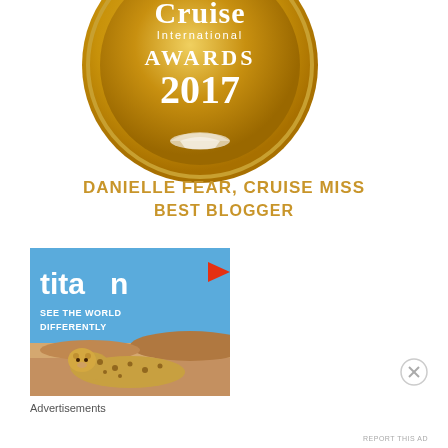[Figure (logo): Circular gold medal/badge for Cruise International Awards 2017, with ship and book icon, partially cropped at top]
DANIELLE FEAR, CRUISE MISS
BEST BLOGGER
[Figure (photo): Titan Travel advertisement showing a cheetah against a desert/savanna landscape with blue sky. Text reads 'titan SEE THE WORLD DIFFERENTLY' with Titan logo including red arrow.]
Advertisements